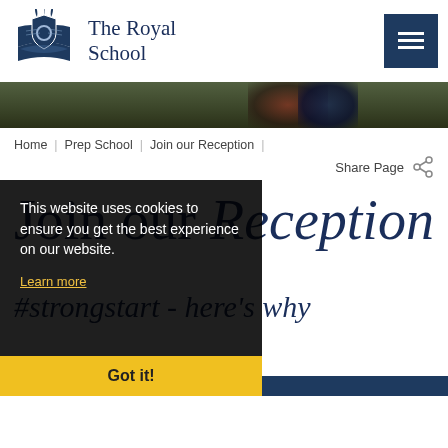The Royal School
[Figure (logo): The Royal School crest logo with open book and feathers in dark navy blue]
Home | Prep School | Join our Reception | Share Page
This website uses cookies to ensure you get the best experience on our website.
Learn more
Got it!
Join our Reception
#strongstart - here's why